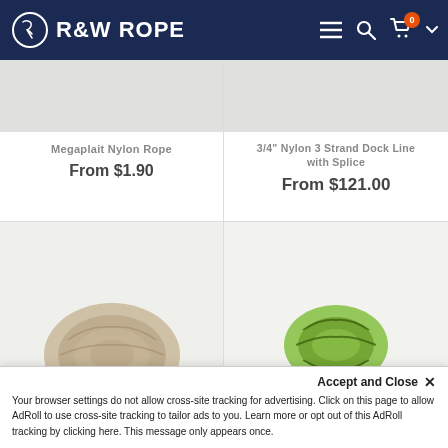R&W ROPE
Megaplait Nylon Rope
From $1.90
3/4" Nylon 3 Strand Dock Line with Splice
From $121.00
[Figure (photo): Coiled rope product image (bottom left)]
[Figure (photo): Green rope product image with SOLD OUT badge (bottom right)]
SOLD OUT
Accept and Close ✕
Your browser settings do not allow cross-site tracking for advertising. Click on this page to allow AdRoll to use cross-site tracking to tailor ads to you. Learn more or opt out of this AdRoll tracking by clicking here. This message only appears once.